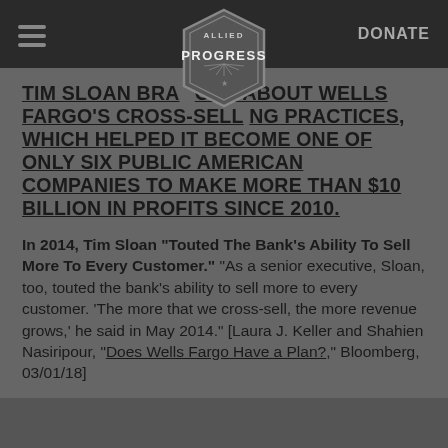DONATE | Allied Progress logo
TIM SLOAN BRAGGED ABOUT WELLS FARGO'S CROSS-SELLING PRACTICES, WHICH HELPED IT BECOME ONE OF ONLY SIX PUBLIC AMERICAN COMPANIES TO MAKE MORE THAN $10 BILLION IN PROFITS SINCE 2010.
In 2014, Tim Sloan “Touted The Bank’s Ability To Sell More To Every Customer.” “As a senior executive, Sloan, too, touted the bank’s ability to sell more to every customer. ‘The more that we cross-sell, the more revenue grows,’ he said in May 2014.” [Laura J. Keller and Shahien Nasiripour, “Does Wells Fargo Have a Plan?,” Bloomberg, 03/01/18]